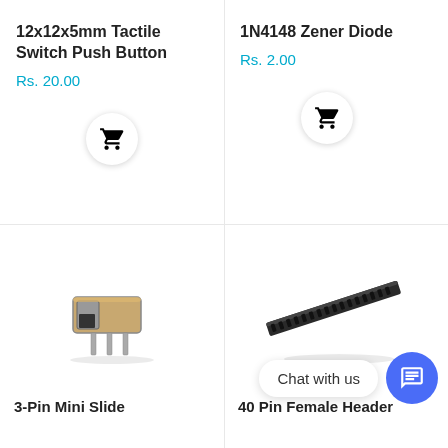12x12x5mm Tactile Switch Push Button
Rs. 20.00
1N4148 Zener Diode
Rs. 2.00
[Figure (photo): Shopping cart icon button for 12x12x5mm Tactile Switch Push Button]
[Figure (photo): Shopping cart icon button for 1N4148 Zener Diode]
[Figure (photo): Photo of a 3-Pin Mini Slide switch component, metallic silver/bronze with pins]
[Figure (photo): Photo of a 40 Pin Female Header strip, long thin black plastic component]
Chat with us
3-Pin Mini Slide
40 Pin Female Header